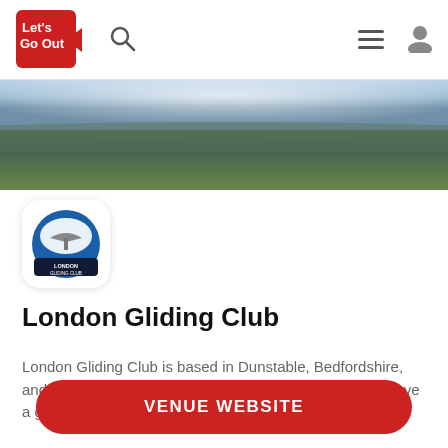[Figure (logo): Let's Go Out app logo — red badge with white text]
[Figure (photo): Aerial panoramic photo of Dunstable / Bedfordshire landscape from high altitude, showing green fields, towns, and cloudy sky]
[Figure (logo): London Gliding Club circular logo with glider graphic and text LONDON GLIDING CLUB]
London Gliding Club
London Gliding Club is based in Dunstable, Bedfordshire, and offers a professional and friendly team to help you have a great time and enjoy the
VENUE WEBSITE